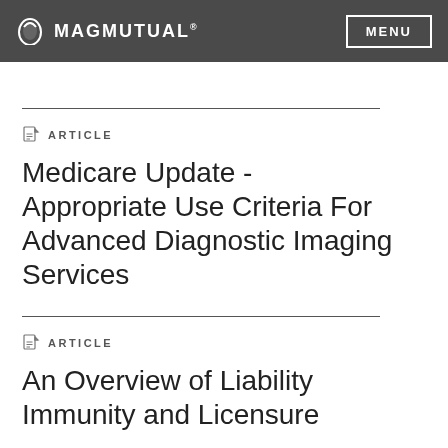MAGMUTUAL® MENU
ARTICLE
Medicare Update - Appropriate Use Criteria For Advanced Diagnostic Imaging Services
ARTICLE
An Overview of Liability Immunity and Licensure